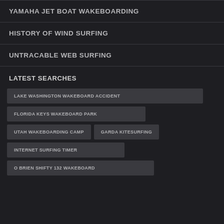YAMAHA JET BOAT WAKEBOARDING
HISTORY OF WIND SURFING
UNTRACABLE WEB SURFING
LATEST SEARCHES
LAKE WASHINGTON WAKEBOARD ACCIDENT
FLORIDA KEYS WAKEBOARD PARK
UTAH WAKEBOARDING CAMP
GARDA KITESURFING
INTERNET SURFING TIMER
O BRIEN SHIFTY 132 WAKEBOARD